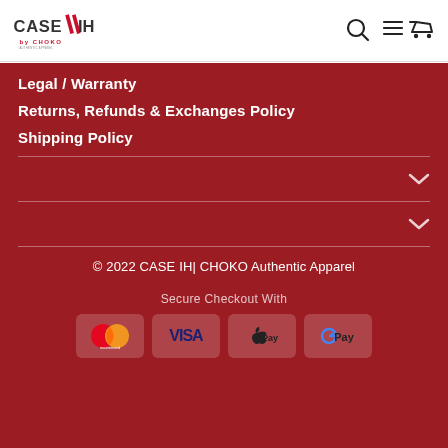[Figure (logo): CASE IH by CHOKO logo with red and white branding]
[Figure (infographic): Navigation icons: search, menu, cart]
Legal / Warranty
Returns, Refunds & Exchanges Policy
Shipping Policy
© 2022 CASE IH| CHOKO Authentic Apparel
Secure Checkout With
[Figure (infographic): Payment icons: Mastercard, VISA, Apple Pay, G Pay]